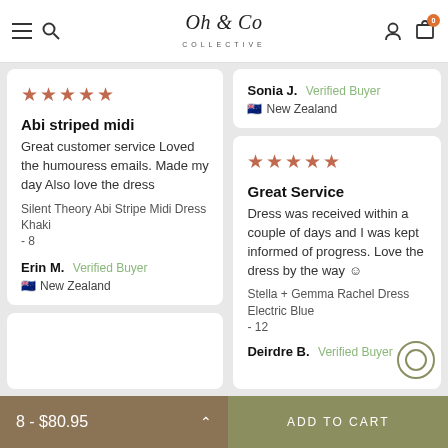Oh & Co Collective
Sonia J. Verified Buyer
New Zealand
★★★★★
Abi striped midi
Great customer service Loved the humouress emails. Made my day Also love the dress
Silent Theory Abi Stripe Midi Dress Khaki
- 8
Erin M. Verified Buyer
New Zealand
★★★★★
Great Service
Dress was received within a couple of days and I was kept informed of progress. Love the dress by the way ☺
Stella + Gemma Rachel Dress Electric Blue
- 12
Deirdre B. Verified Buyer
8 - $80.95 | ADD TO CART